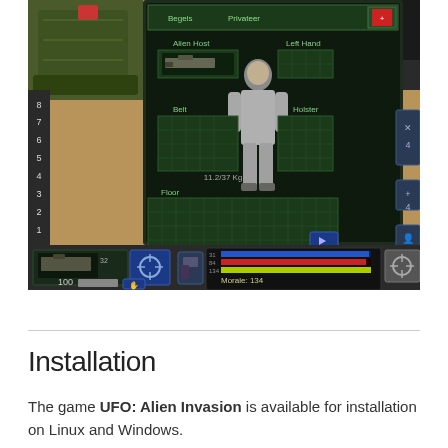[Figure (screenshot): Screenshot of the UFO: Alien Invasion game showing a tactical battle map with a soldier's inventory/equipment screen open in the center. The UI shows a 3D soldier model in a grey suit, inventory slots, weight indicator showing 11.2/37 Kg, a grid inventory area, and at the bottom a status bar showing morale value of 134 with colored HP/stamina/morale bars. A green military vehicle is visible in the top-left of the map.]
Installation
The game UFO: Alien Invasion is available for installation on Linux and Windows.